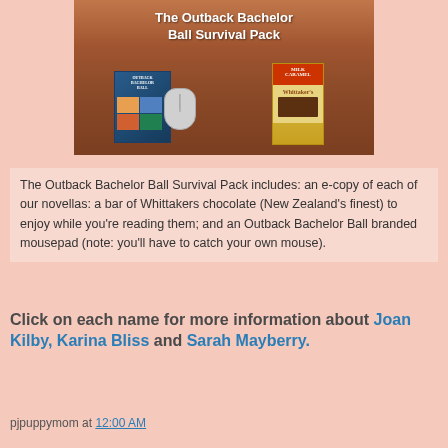[Figure (photo): Photo of 'The Outback Bachelor Ball Survival Pack' showing a DVD/book set with a mouse on an outback red dirt background, alongside a Whittakers Milk Caramel chocolate bar. The text 'The Outback Bachelor Ball Survival Pack' appears at the top of the image in white bold text.]
The Outback Bachelor Ball Survival Pack includes: an e-copy of each of our novellas: a bar of Whittakers chocolate (New Zealand's finest) to enjoy while you're reading them; and an Outback Bachelor Ball branded mousepad (note: you'll have to catch your own mouse).
Click on each name for more information about Joan Kilby, Karina Bliss and Sarah Mayberry.
pjpuppymom at 12:00 AM